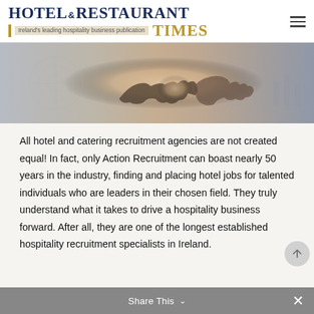HOTEL & RESTAURANT TIMES — Ireland's leading hospitality business publication
[Figure (photo): A business handshake photo with a blurred financial chart background, showing two people shaking hands, warm orange-gold glow in center]
All hotel and catering recruitment agencies are not created equal! In fact, only Action Recruitment can boast nearly 50 years in the industry, finding and placing hotel jobs for talented individuals who are leaders in their chosen field. They truly understand what it takes to drive a hospitality business forward. After all, they are one of the longest established hospitality recruitment specialists in Ireland.
Share This